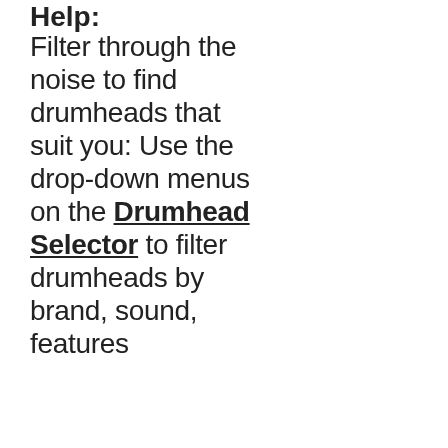Help:
Filter through the noise to find drumheads that suit you: Use the drop-down menus on the Drumhead Selector to filter drumheads by brand, sound, features